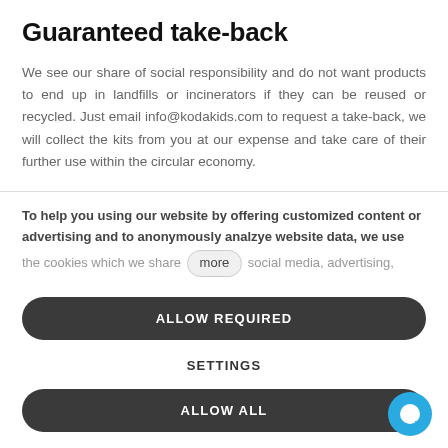Guaranteed take-back
We see our share of social responsibility and do not want products to end up in landfills or incinerators if they can be reused or recycled. Just email info@kodakids.com to request a take-back, we will collect the kits from you at our expense and take care of their further use within the circular economy.
To help you using our website by offering customized content or advertising and to anonymously analzye website data, we use the cookies which we share ( more ) social media, advertising,
ALLOW REQUIRED
SETTINGS
ALLOW ALL